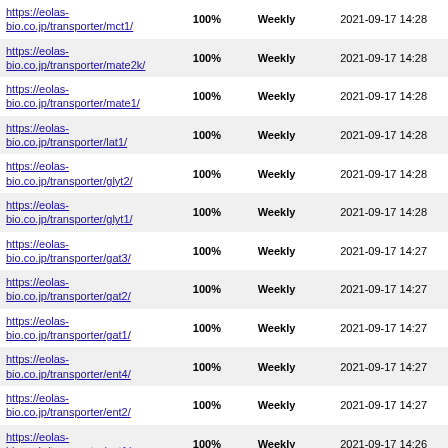| https://eolas-bio.co.jp/transporter/mct1/ | 100% | Weekly | 2021-09-17 14:28 |
| https://eolas-bio.co.jp/transporter/mate2k/ | 100% | Weekly | 2021-09-17 14:28 |
| https://eolas-bio.co.jp/transporter/mate1/ | 100% | Weekly | 2021-09-17 14:28 |
| https://eolas-bio.co.jp/transporter/lat1/ | 100% | Weekly | 2021-09-17 14:28 |
| https://eolas-bio.co.jp/transporter/glyt2/ | 100% | Weekly | 2021-09-17 14:28 |
| https://eolas-bio.co.jp/transporter/glyt1/ | 100% | Weekly | 2021-09-17 14:28 |
| https://eolas-bio.co.jp/transporter/gat3/ | 100% | Weekly | 2021-09-17 14:27 |
| https://eolas-bio.co.jp/transporter/gat2/ | 100% | Weekly | 2021-09-17 14:27 |
| https://eolas-bio.co.jp/transporter/gat1/ | 100% | Weekly | 2021-09-17 14:27 |
| https://eolas-bio.co.jp/transporter/ent4/ | 100% | Weekly | 2021-09-17 14:27 |
| https://eolas-bio.co.jp/transporter/ent2/ | 100% | Weekly | 2021-09-17 14:27 |
| https://eolas-bio.co.jp/transporter/ent1/ | 100% | Weekly | 2021-09-17 14:26 |
| https://eolas-bio.co.jp/transporter/eaat3/ | 100% | Weekly | 2021-09-17 14:26 |
| https://eolas-bio.co.jp/transporter/eaat2/ | 100% | Weekly | 2021-09-17 14:26 |
| https://eolas-bio.co.jp/transporter/eaat1/ | 100% | Weekly | 2021-09-17 14:26 |
| https://eolas-bio.co.jp/transporter/dat/ | 100% | Weekly | 2021-09-17 14:25 |
| https://eolas-bio.co.jp/transporter/crt/ | 100% | Weekly | 2021-09-17 14:25 |